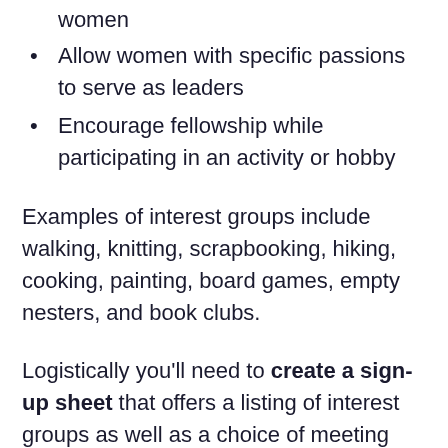women
Allow women with specific passions to serve as leaders
Encourage fellowship while participating in an activity or hobby
Examples of interest groups include walking, knitting, scrapbooking, hiking, cooking, painting, board games, empty nesters, and book clubs.
Logistically you’ll need to create a sign-up sheet that offers a listing of interest groups as well as a choice of meeting locations.